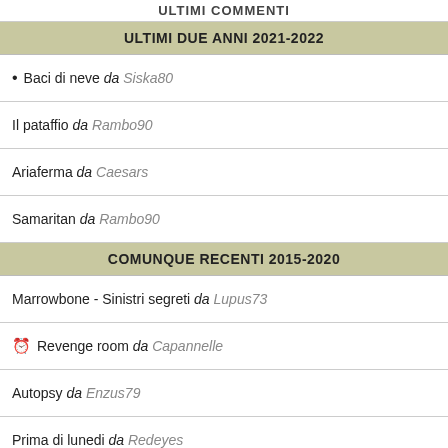ULTIMI COMMENTI
ULTIMI DUE ANNI 2021-2022
• Baci di neve da Siska80
Il pataffio da Rambo90
Ariaferma da Caesars
Samaritan da Rambo90
COMUNQUE RECENTI 2015-2020
Marrowbone - Sinistri segreti da Lupus73
⊙ Revenge room da Capannelle
Autopsy da Enzus79
Prima di lunedi da Redeyes
IL MUCCHIO 1966-2014
In relazione alla nuova normativa europea (GDPR) abbiamo aggiornato la nostra informativa sul trattamento dei dati personali e ti chiediamo di prenderne visione, confermando tramite il pulsante al termine del testo. CONTINUA